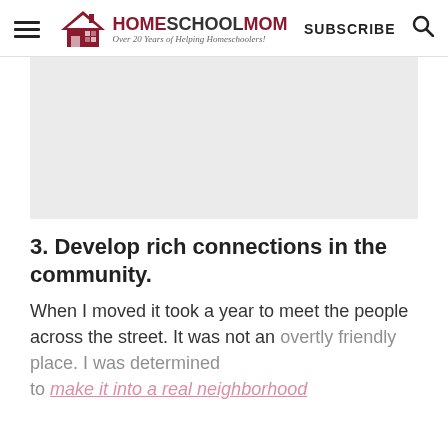THE HOMESCHOOL MOM — Over 20 Years of Helping Homeschoolers! | SUBSCRIBE
[Figure (other): Gray advertisement placeholder rectangle]
3. Develop rich connections in the community.
When I moved it took a year to meet the people across the street. It was not an overtly friendly place. I was determined to make it into a real neighborhood